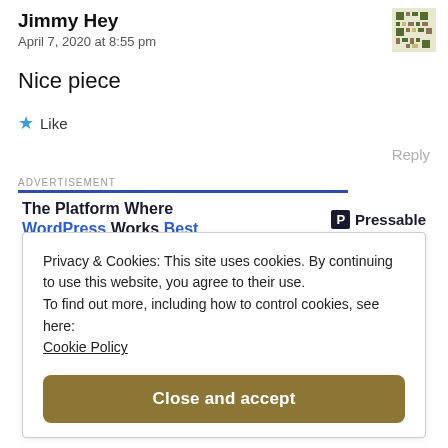April 7, 2020 at 8:55 pm
Nice piece
★ Like
Reply
[Figure (logo): Pressable advertisement banner with text: The Platform Where WordPress Works Best, and Pressable logo]
Privacy & Cookies: This site uses cookies. By continuing to use this website, you agree to their use. To find out more, including how to control cookies, see here: Cookie Policy
Close and accept